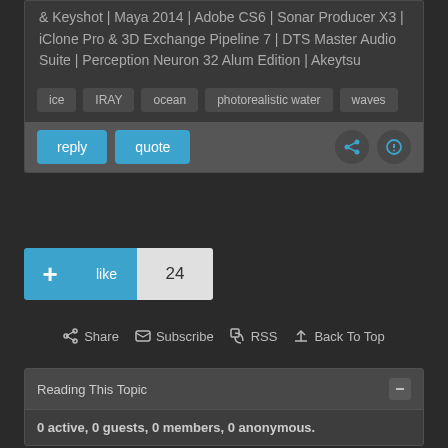& Keyshot | Maya 2014 | Adobe CS6 | Sonar Producer X3 | iClone Pro & 3D Exchange Pipeline 7 | DTS Master Audio Suite | Perception Neuron 32 Alum Edition | Akeytsu
ice
IRAY
ocean
photorealistic water
waves
reply  quote
like  24
Share  Subscribe  RSS  Back To Top
Reading This Topic
0 active, 0 guests, 0 members, 0 anonymous.